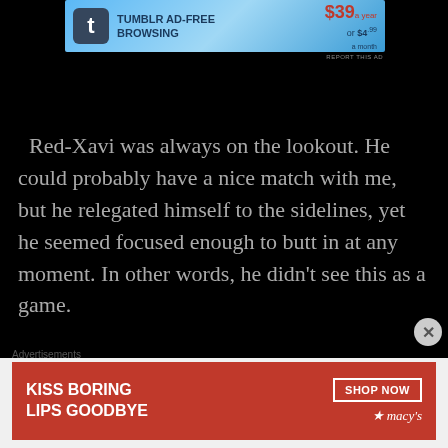[Figure (screenshot): Tumblr Ad-Free Browsing advertisement banner showing Tumblr logo, text 'TUMBLR AD-FREE BROWSING', price '$39 a year or $4.99 a month' with 'REPORT THIS AD' link]
Red-Xavi was always on the lookout. He could probably have a nice match with me, but he relegated himself to the sidelines, yet he seemed focused enough to butt in at any moment. In other words, he didn't see this as a game.
Advertisements
[Figure (screenshot): Macy's advertisement banner showing 'KISS BORING LIPS GOODBYE' text with 'SHOP NOW' button and Macy's star logo on red background with woman's face]